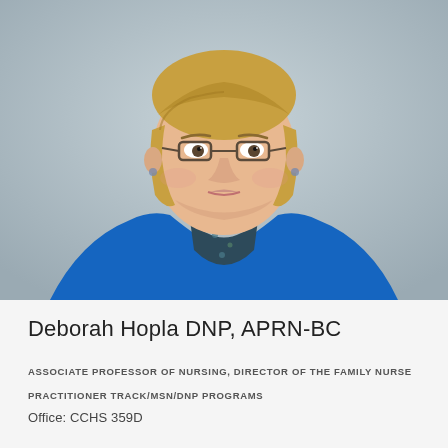[Figure (photo): Professional headshot of a middle-aged woman with short blonde hair and glasses, wearing a bright blue cardigan over a dark floral top, photographed against a light gray background.]
Deborah Hopla DNP, APRN-BC
ASSOCIATE PROFESSOR OF NURSING, DIRECTOR OF THE FAMILY NURSE PRACTITIONER TRACK/MSN/DNP PROGRAMS
Office: CCHS 359D